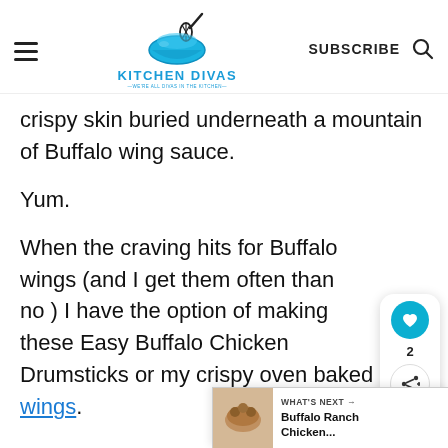KITCHEN DIVAS — WE'RE ALL DIVAS IN THE KITCHEN — | SUBSCRIBE
crispy skin buried underneath a mountain of Buffalo wing sauce.
Yum.
When the craving hits for Buffalo wings (and I get them often than not) I have the option of making these Easy Buffalo Chicken Drumsticks or my crispy oven baked wings.